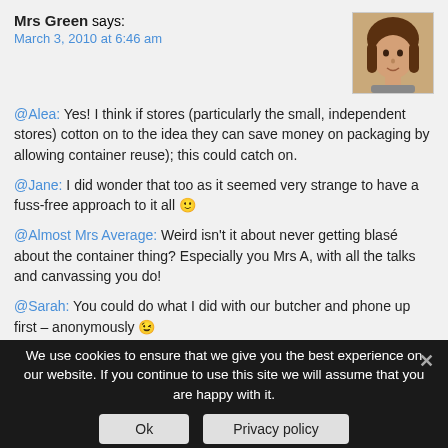Mrs Green says:
March 3, 2010 at 6:46 am
[Figure (photo): Avatar photo of Mrs Green, a woman with brown hair.]
@Alea: Yes! I think if stores (particularly the small, independent stores) cotton on to the idea they can save money on packaging by allowing container reuse); this could catch on.

@Jane: I did wonder that too as it seemed very strange to have a fuss-free approach to it all 🙂

@Almost Mrs Average: Weird isn't it about never getting blasé about the container thing? Especially you Mrs A, with all the talks and canvassing you do!

@Sarah: You could do what I did with our butcher and phone up first – anonymously 😉
You could always blame me – tell them you've been reading about this weird family in Gloucestershire LOL!
We use cookies to ensure that we give you the best experience on our website. If you continue to use this site we will assume that you are happy with it.